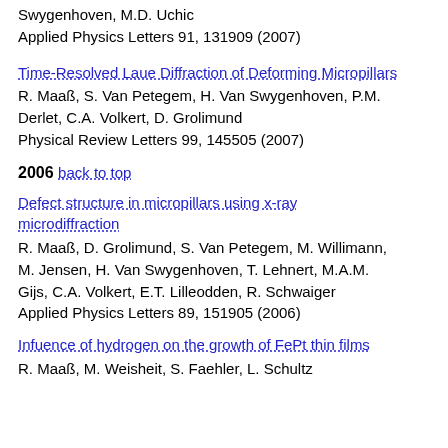Swygenhoven, M.D. Uchic
Applied Physics Letters 91, 131909 (2007)
Time-Resolved Laue Diffraction of Deforming Micropillars
R. Maaß, S. Van Petegem, H. Van Swygenhoven, P.M. Derlet, C.A. Volkert, D. Grolimund
Physical Review Letters 99, 145505 (2007)
2006 back to top
Defect structure in micropillars using x-ray microdiffraction
R. Maaß, D. Grolimund, S. Van Petegem, M. Willimann, M. Jensen, H. Van Swygenhoven, T. Lehnert, M.A.M. Gijs, C.A. Volkert, E.T. Lilleodden, R. Schwaiger
Applied Physics Letters 89, 151905 (2006)
Infuence of hydrogen on the growth of FePt thin films
R. Maaß, M. Weisheit, S. Faehler, L. Schultz